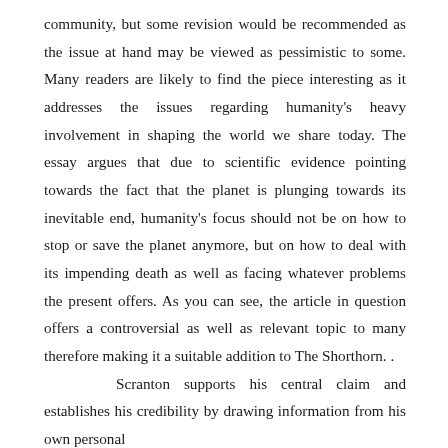community, but some revision would be recommended as the issue at hand may be viewed as pessimistic to some. Many readers are likely to find the piece interesting as it addresses the issues regarding humanity's heavy involvement in shaping the world we share today. The essay argues that due to scientific evidence pointing towards the fact that the planet is plunging towards its inevitable end, humanity's focus should not be on how to stop or save the planet anymore, but on how to deal with its impending death as well as facing whatever problems the present offers. As you can see, the article in question offers a controversial as well as relevant topic to many therefore making it a suitable addition to The Shorthorn. .    Scranton supports his central claim and establishes his credibility by drawing information from his own personal